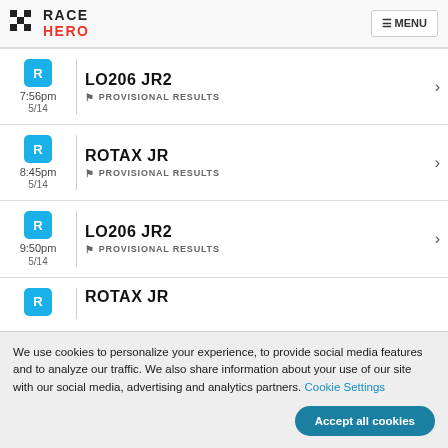RACE HERO — MENU
LO206 JR2 — 7:56pm 5/14 — PROVISIONAL RESULTS
ROTAX JR — 8:45pm 5/14 — PROVISIONAL RESULTS
LO206 JR2 — 9:50pm 5/14 — PROVISIONAL RESULTS
ROTAX JR (partial)
We use cookies to personalize your experience, to provide social media features and to analyze our traffic. We also share information about your use of our site with our social media, advertising and analytics partners. Cookie Settings
Accept all cookies